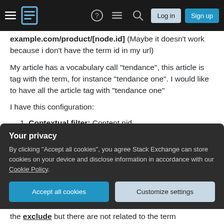Stack Exchange navigation bar with hamburger menu, logo, icons, Log in and Sign up buttons
example.com/product/[node.id] (Maybe it doesn't work because i don't have the term id in my url)
My article has a vocabulary call "tendance", this article is tag with the term, for instance "tendance one". I would like to have all the article tag with "tendance one"
I have this configuration:
1. Contextual filter: Content nid
2. WHEN THE FILTER VALUE IS NOT
Your privacy
By clicking "Accept all cookies", you agree Stack Exchange can store cookies on your device and disclose information in accordance with our Cookie Policy.
Accept all cookies | Customize settings
the exclude but there are not related to the term